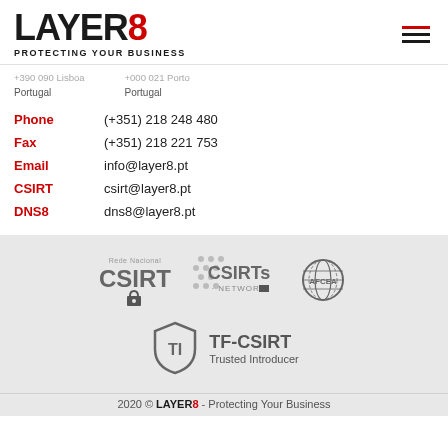[Figure (logo): Layer8 logo — bold black text LAYER with red 8, subtitle PROTECTING YOUR BUSINESS, and hamburger menu icon top right]
+390 090 Lisboa Portugal   +000 021 Porto Portugal
Phone  (+351) 218 248 480
Fax  (+351) 218 221 753
Email  info@layer8.pt
CSIRT  csirt@layer8.pt
DNS8  dns8@layer8.pt
[Figure (logo): Rede Nacional CSIRT logo with padlock icon]
[Figure (logo): CSIRTs Network EU logo]
[Figure (logo): AFCEA globe logo]
[Figure (logo): TF-CSIRT Trusted Introducer logo with shield icon]
2020 © LAYER8 - Protecting Your Business